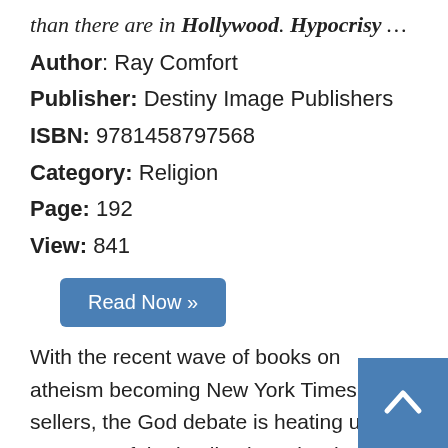than there are in Hollywood. Hypocrisy …
Author: Ray Comfort
Publisher: Destiny Image Publishers
ISBN: 9781458797568
Category: Religion
Page: 192
View: 841
Read Now »
With the recent wave of books on atheism becoming New York Times best-sellers, the God debate is heating up. Because of the implications, it's the most significant debate of all time: Is there a God, or isn't there? In this